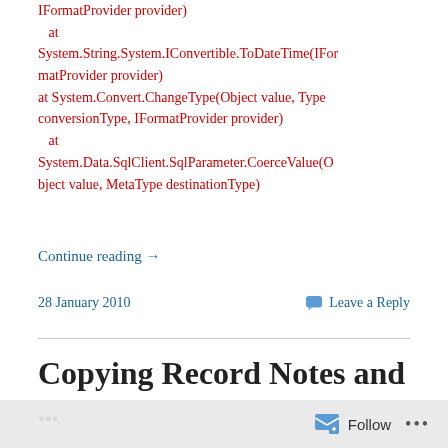IFormatProvider provider)
   at System.String.System.IConvertible.ToDateTime(IFormatProvider provider)
   at System.Convert.ChangeType(Object value, Type conversionType, IFormatProvider provider)
   at System.Data.SqlClient.SqlParameter.CoerceValue(Object value, MetaType destinationType)
Continue reading →
28 January 2010
Leave a Reply
Copying Record Notes and...